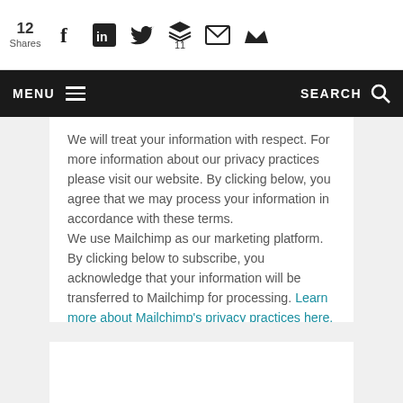12 Shares — social share bar with Facebook, LinkedIn, Twitter, Buffer (11), email, crown icons
MENU | SEARCH navigation bar
We will treat your information with respect. For more information about our privacy practices please visit our website. By clicking below, you agree that we may process your information in accordance with these terms.
We use Mailchimp as our marketing platform. By clicking below to subscribe, you acknowledge that your information will be transferred to Mailchimp for processing. Learn more about Mailchimp's privacy practices here.
Subscribe (button)